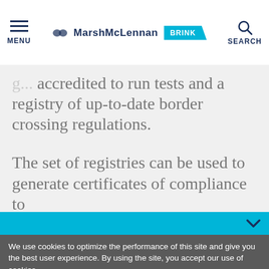MENU | MarshMcLennan BRINK | SEARCH
...accredited to run tests and a registry of up-to-date border crossing regulations.
The set of registries can be used to generate certificates of compliance to
We use cookies to optimize the performance of this site and give you the best user experience. By using the site, you accept our use of cookies.
Okay
Manage Cookies